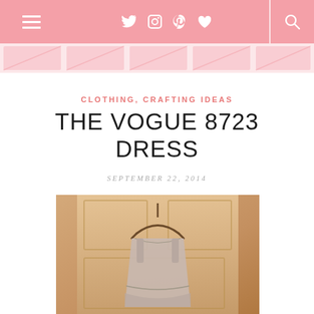Navigation bar with hamburger menu, social icons (Twitter, Instagram, Pinterest, Heart), and search icon
[Figure (logo): Blog logo rendered as repeated diagonal banner tiles in light pink]
CLOTHING, CRAFTING IDEAS
THE VOGUE 8723 DRESS
SEPTEMBER 22, 2014
[Figure (photo): Photo of a sleeveless dress on a hanger against a wooden door background, warm/vintage tone]